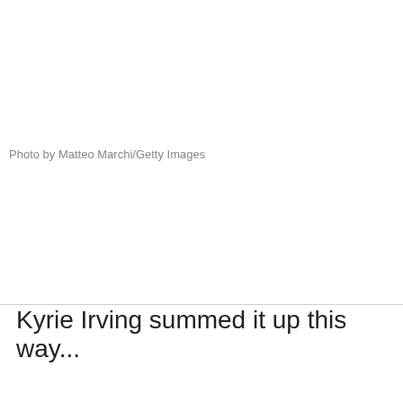[Figure (photo): Blank white photo area (image not loaded)]
Photo by Matteo Marchi/Getty Images
[Figure (photo): Blank white photo area (image not loaded)]
Kyrie Irving summed it up this way...